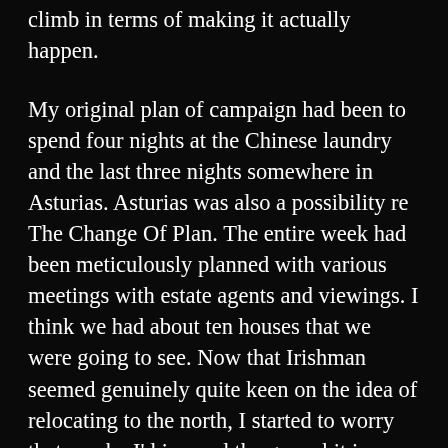climb in terms of making it actually happen. My original plan of campaign had been to spend four nights at the Chinese laundry and the last three nights somewhere in Asturias. Asturias was also a possibility re The Change Of Plan. The entire week had been meticulously planned with various meetings with estate agents and viewings. I think we had about ten houses that we were going to see. Now that Irishman seemed genuinely quite keen on the idea of relocating to the north, I started to worry that maybe I'd jumped the gun a bit in terms of looking at houses before we'd even put our own on the market. Still, we were up here now and we